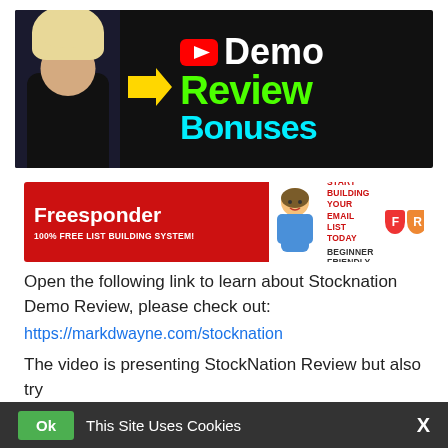[Figure (screenshot): YouTube-style Demo Review Bonuses banner with a blonde woman, YouTube logo, yellow arrow, green 'Review' text and cyan 'Bonuses' text on dark background]
[Figure (screenshot): Freesponder banner ad: red left section with 'Freesponder 100% FREE LIST BUILDING SYSTEM!', cartoon man in middle, right side reads 'START BUILDING YOUR EMAIL LIST TODAY BEGINNER FRIENDLY' with FREE tags]
Open the following link to learn about Stocknation Demo Review, please check out:
https://markdwayne.com/stocknation
The video is presenting StockNation Review but also try
Ok   This Site Uses Cookies   X